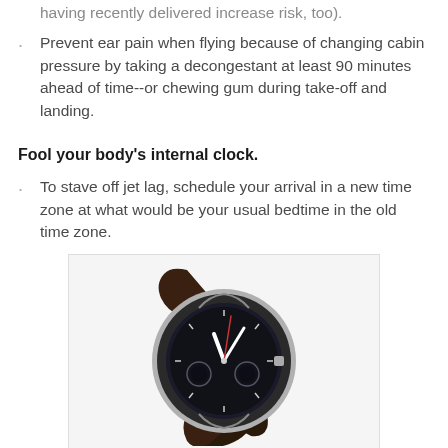having recently delivered increase risk, too).
Prevent ear pain when flying because of changing cabin pressure by taking a decongestant at least 90 minutes ahead of time--or chewing gum during take-off and landing.
Fool your body’s internal clock.
To stave off jet lag, schedule your arrival in a new time zone at what would be your usual bedtime in the old time zone.
[Figure (photo): A dark analog wristwatch with a black dial, chronograph sub-dials, silver case, and dark brown leather strap, photographed at an angle on a white background.]